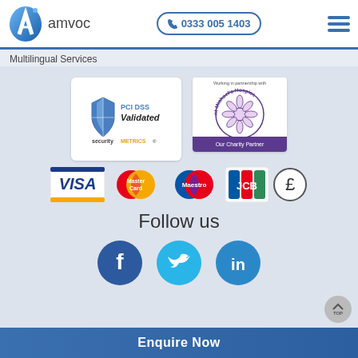[Figure (logo): Amvoc logo - blue droplet/letter A shape with 'amvoc' text]
[Figure (infographic): Phone button with number 0333 005 1403]
[Figure (infographic): Hamburger menu icon]
Multilingual Services
[Figure (logo): PCI DSS Validated securityMETRICS badge]
[Figure (logo): Saint Michael's Hospice - Our Charity Partner badge]
[Figure (logo): Payment logos: VISA, MasterCard, Maestro, JCB, GBP]
Follow us
[Figure (infographic): Social media icons: Facebook, Twitter, LinkedIn]